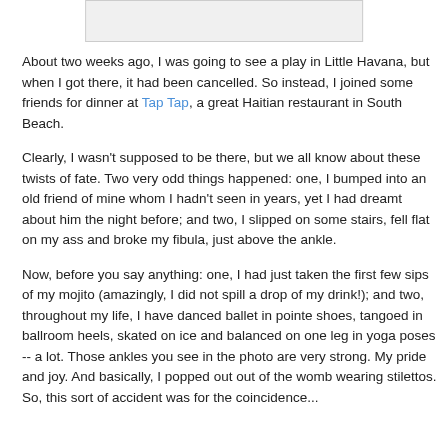[Figure (photo): A photo placeholder at the top of the page, partially visible]
About two weeks ago, I was going to see a play in Little Havana, but when I got there, it had been cancelled. So instead, I joined some friends for dinner at Tap Tap, a great Haitian restaurant in South Beach.
Clearly, I wasn't supposed to be there, but we all know about these twists of fate. Two very odd things happened: one, I bumped into an old friend of mine whom I hadn't seen in years, yet I had dreamt about him the night before; and two, I slipped on some stairs, fell flat on my ass and broke my fibula, just above the ankle.
Now, before you say anything: one, I had just taken the first few sips of my mojito (amazingly, I did not spill a drop of my drink!); and two, throughout my life, I have danced ballet in pointe shoes, tangoed in ballroom heels, skated on ice and balanced on one leg in yoga poses -- a lot. Those ankles you see in the photo are very strong. My pride and joy. And basically, I popped out out of the womb wearing stilettos. So, this sort of accident was for the coincidence...